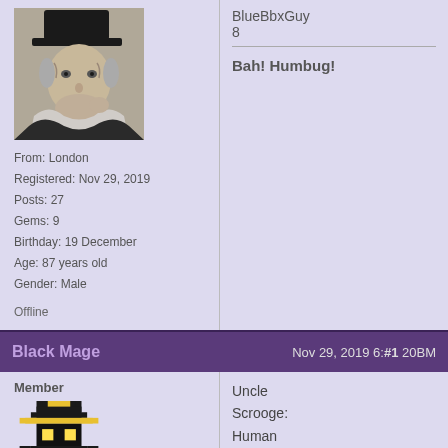[Figure (photo): Black and white photo of an elderly man wearing a top hat and scarf, resembling Ebenezer Scrooge]
From: London
Registered: Nov 29, 2019
Posts: 27
Gems: 9
Birthday: 19 December
Age: 87 years old
Gender: Male
Offline
BlueBbxGuy8
Bah! Humbug!
Black Mage    Nov 29, 2019 6:#1 20BM
Member
[Figure (illustration): Pixel art of a Black Mage character with yellow hat and blue robe from Final Fantasy]
Uncle Scrooge: Human Edition